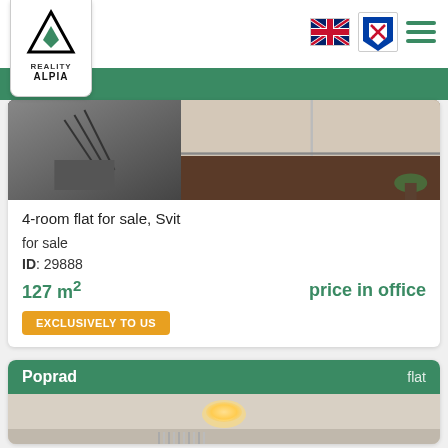[Figure (logo): Reality Alpia logo with black triangle outline and green diamond inside, company name below]
[Figure (photo): Interior room photos of a 4-room flat]
4-room flat for sale, Svit
for sale
ID: 29888
127 m²
price in office
EXCLUSIVELY TO US
Poprad
flat